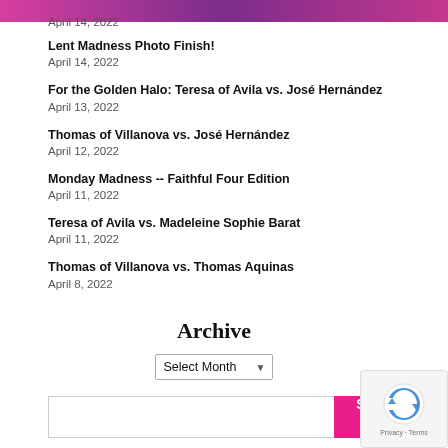April 14, 2022
Lent Madness Photo Finish!
April 14, 2022
For the Golden Halo: Teresa of Avila vs. José Hernández
April 13, 2022
Thomas of Villanova vs. José Hernández
April 12, 2022
Monday Madness -- Faithful Four Edition
April 11, 2022
Teresa of Avila vs. Madeleine Sophie Barat
April 11, 2022
Thomas of Villanova vs. Thomas Aquinas
April 8, 2022
Archive